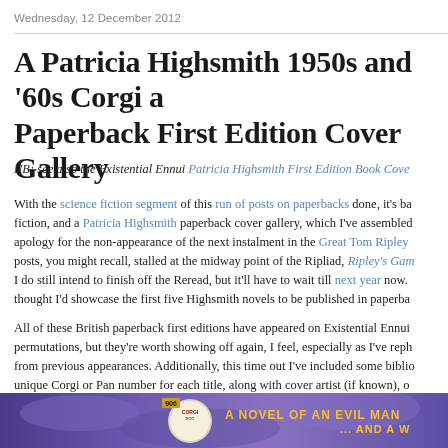Wednesday, 12 December 2012
A Patricia Highsmith 1950s and '60s Corgi and Paperback First Edition Cover Gallery
NB: see also the Existential Ennui Patricia Highsmith First Edition Book Cover...
With the science fiction segment of this run of posts on paperbacks done, it's ba... fiction, and a Patricia Highsmith paperback cover gallery, which I've assembled... apology for the non-appearance of the next instalment in the Great Tom Ripley... posts, you might recall, stalled at the midway point of the Ripliad, Ripley's Gam... I do still intend to finish off the Reread, but it'll have to wait till next year now.... thought I'd showcase the first five Highsmith novels to be published in paperba...
All of these British paperback first editions have appeared on Existential Ennui... permutations, but they're worth showing off again, I feel, especially as I've reph... from previous appearances. Additionally, this time out I've included some biblio... unique Corgi or Pan number for each title, along with cover artist (if known), o... and pub date. Enjoy.
[Figure (photo): Partial view of a Corgi Books paperback cover with purple/multicolor design, Corgi Books logo visible, and text reading 'A NOVEL OF AN EVIL MAN ... AND A W']